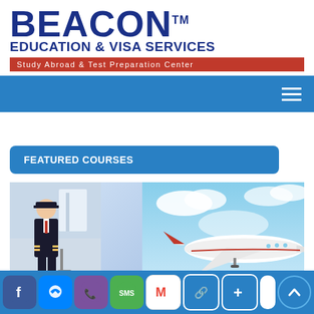[Figure (logo): Beacon Education & Visa Services logo with large blue BEACON text and TM mark, blue subtitle EDUCATION & VISA SERVICES, red banner Study Abroad & Test Preparation Center]
[Figure (screenshot): Blue navigation bar with hamburger menu icon on the right]
FEATURED COURSES
[Figure (photo): Composite image of a pilot in uniform standing in airport on left, commercial airplane in blue sky on right]
[Figure (screenshot): Bottom social media bar with Facebook, Messenger, Viber, SMS, Gmail, link, and plus icons, plus a scroll-to-top button]